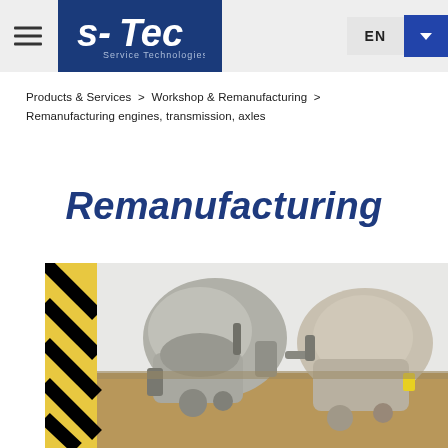S-Tec Service Technologies — EN
Products & Services  >  Workshop & Remanufacturing  >  Remanufacturing engines, transmission, axles
Remanufacturing
[Figure (photo): Two remanufactured transmission/gearbox units placed on a workbench in a workshop, with yellow and black hazard striping visible in the background.]